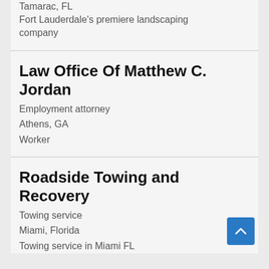Tamarac, FL
Fort Lauderdale's premiere landscaping company
Law Office Of Matthew C. Jordan
Employment attorney
Athens, GA
Worker
Roadside Towing and Recovery
Towing service
Miami, Florida
Towing service in Miami FL